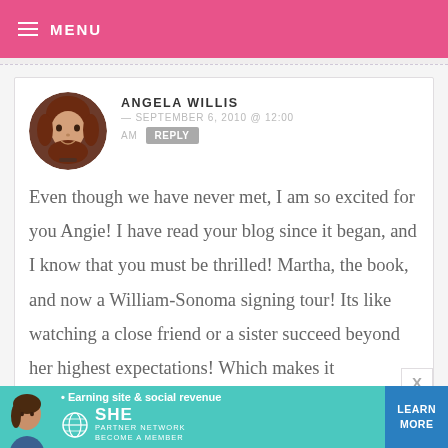MENU
ANGELA WILLIS — SEPTEMBER 6, 2010 @ 12:00 AM   REPLY
Even though we have never met, I am so excited for you Angie! I have read your blog since it began, and I know that you must be thrilled! Martha, the book, and now a William-Sonoma signing tour! Its like watching a close friend or a sister succeed beyond her highest expectations! Which makes it
[Figure (infographic): SHE Partner Network advertisement banner with person image, bullet point 'Earning site & social revenue', SHE logo, PARTNER NETWORK / BECOME A MEMBER text, and LEARN MORE button]